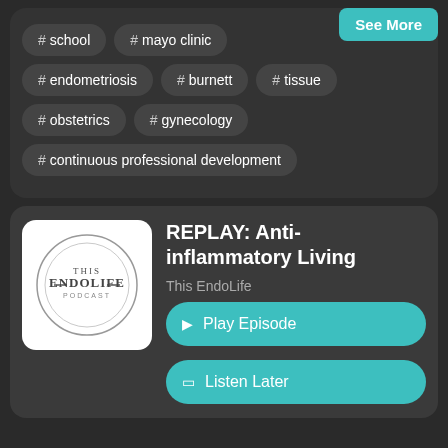See More
# school
# mayo clinic
# endometriosis
# burnett
# tissue
# obstetrics
# gynecology
# continuous professional development
[Figure (logo): This EndoLife Podcast circular logo with text 'THIS ENDOLIFE PODCAST' on white background]
REPLAY: Anti-inflammatory Living
This EndoLife
▶ Play Episode
☐ Listen Later